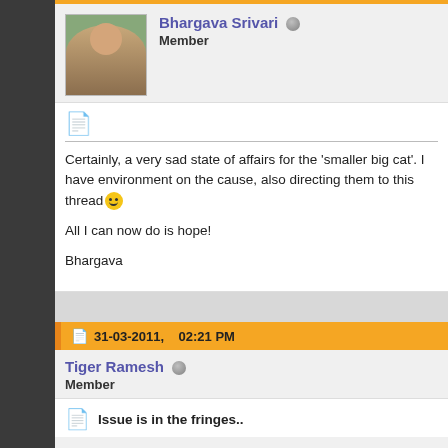Bhargava Srivari — Member
Certainly, a very sad state of affairs for the 'smaller big cat'. I have environment on the cause, also directing them to this thread :) All I can now do is hope! Bhargava
31-03-2011, 02:21 PM
Tiger Ramesh — Member
Issue is in the fringes..